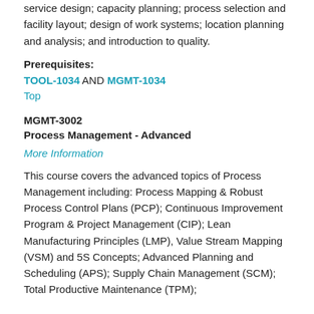service design; capacity planning; process selection and facility layout; design of work systems; location planning and analysis; and introduction to quality.
Prerequisites:
TOOL-1034 AND MGMT-1034
Top
MGMT-3002
Process Management - Advanced
More Information
This course covers the advanced topics of Process Management including: Process Mapping & Robust Process Control Plans (PCP); Continuous Improvement Program & Project Management (CIP); Lean Manufacturing Principles (LMP), Value Stream Mapping (VSM) and 5S Concepts; Advanced Planning and Scheduling (APS); Supply Chain Management (SCM); Total Productive Maintenance (TPM);